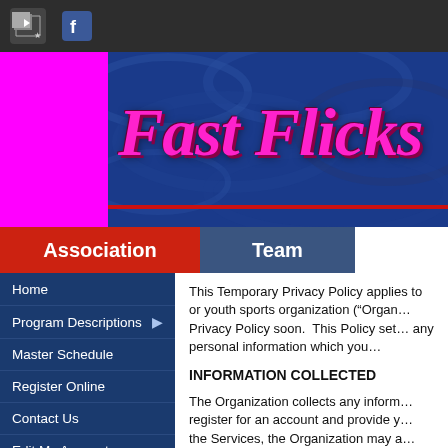Fast Flicks - website header with navigation icons
[Figure (screenshot): Fast Flicks website banner with magenta italic script title on blue water-texture background]
Association | Team
Home
Program Descriptions
Master Schedule
Register Online
Contact Us
Edit My Account
Clearance Information
Clinics/Camps
This Temporary Privacy Policy applies to or youth sports organization (“Organ… Privacy Policy soon. This Policy set… any personal information which you…
INFORMATION COLLECTED
The Organization collects any inform… register for an account and provide y… the Services, the Organization may a…
Contact information such as ac…